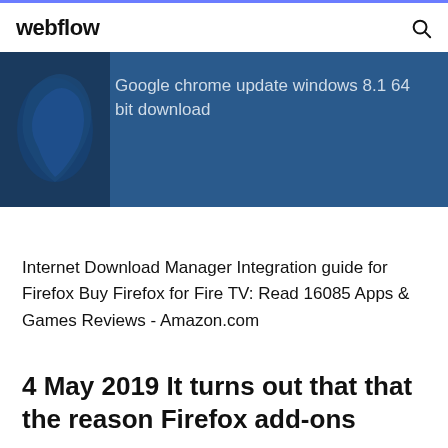webflow
[Figure (screenshot): Banner with blue background showing Firefox logo silhouette on left and text: Google chrome update windows 8.1 64 bit download]
Internet Download Manager Integration guide for Firefox Buy Firefox for Fire TV: Read 16085 Apps & Games Reviews - Amazon.com
4 May 2019 It turns out that that the reason Firefox add-ons